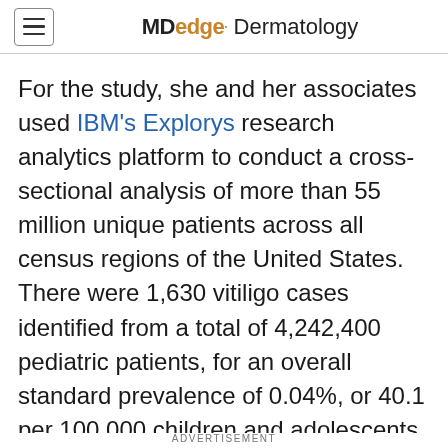MDedge· Dermatology
For the study, she and her associates used IBM's Explorys research analytics platform to conduct a cross-sectional analysis of more than 55 million unique patients across all census regions of the United States. There were 1,630 vitiligo cases identified from a total of 4,242,400 pediatric patients, for an overall standard prevalence of 0.04%, or 40.1 per 100,000 children and adolescents. The proportion of female and male patients with vitiligo was similar (49.1% and 50.9%,
ADVERTISEMENT